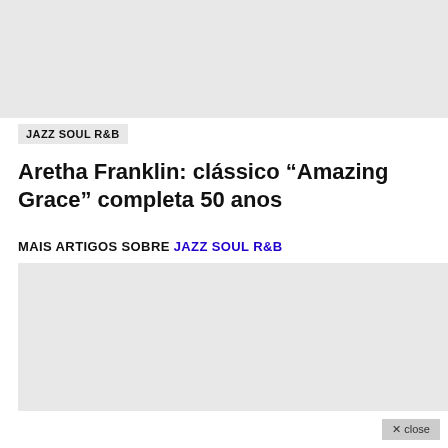[Figure (photo): Large gray placeholder image at top of article]
JAZZ SOUL R&B
Aretha Franklin: clássico “Amazing Grace” completa 50 anos
MAIS ARTIGOS SOBRE JAZZ SOUL R&B
[Figure (photo): Large gray placeholder image at bottom, related articles section]